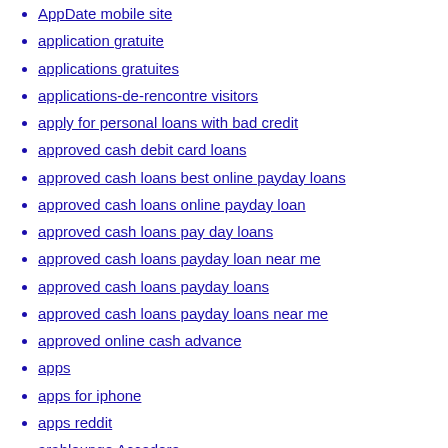AppDate mobile site
application gratuite
applications gratuites
applications-de-rencontre visitors
apply for personal loans with bad credit
approved cash debit card loans
approved cash loans best online payday loans
approved cash loans online payday loan
approved cash loans pay day loans
approved cash loans payday loan near me
approved cash loans payday loans
approved cash loans payday loans near me
approved online cash advance
apps
apps for iphone
apps reddit
arablounge Accedere
arablounge app
arablounge come funziona
arablounge como funciona
Arablounge dating
arablounge hookup hotshot
arablounge it review
arablounge login